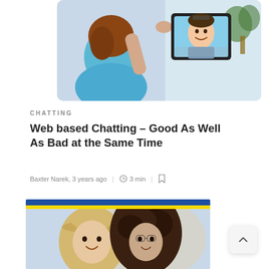[Figure (photo): Woman seen from behind holding a tablet, video chatting with a smiling man. Blue shirt, home setting.]
CHATTING
Web based Chatting – Good As Well As Bad at the Same Time
Baxter Narek, 3 years ago  |  3 min  |  [bookmark icon]
[Figure (photo): Two people smiling closely together outdoors, one wearing a hat. Image has a blue and yellow stripe header.]